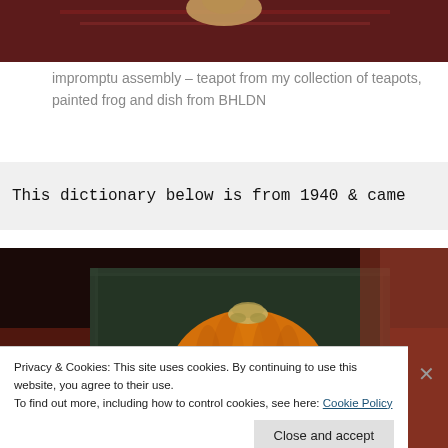[Figure (photo): Top portion of a styled photo showing a teapot and decorative items on a red/dark background, cropped at bottom.]
impromptu assembly – teapot from my collection of teapots, painted frog and dish from BHLDN
This dictionary below is from 1940 & came
[Figure (photo): Overhead photo of an orange pumpkin resting on a dark ornate book or tray, with autumn-colored background.]
Privacy & Cookies: This site uses cookies. By continuing to use this website, you agree to their use.
To find out more, including how to control cookies, see here: Cookie Policy
Close and accept